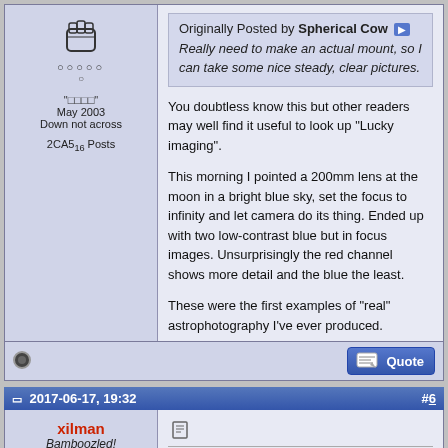Originally Posted by Spherical Cow
Really need to make an actual mount, so I can take some nice steady, clear pictures.
You doubtless know this but other readers may well find it useful to look up "Lucky imaging".

This morning I pointed a 200mm lens at the moon in a bright blue sky, set the focus to infinity and let camera do its thing. Ended up with two low-contrast blue but in focus images. Unsurprisingly the red channel shows more detail and the blue the least.

These were the first examples of "real" astrophotography I've ever produced.
2017-06-17, 19:32    #6
xilman
Bamboozled!
Quote: